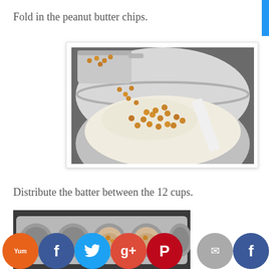Fold in the peanut butter chips.
[Figure (photo): A metal mixing bowl containing flour batter with peanut butter chips being poured in from a measuring cup, with a white spatula visible on the right side.]
Distribute the batter between the 12 cups.
[Figure (photo): A silver muffin tin with 12 cups, some containing raw muffin batter with visible peanut butter chips, placed on a dark surface.]